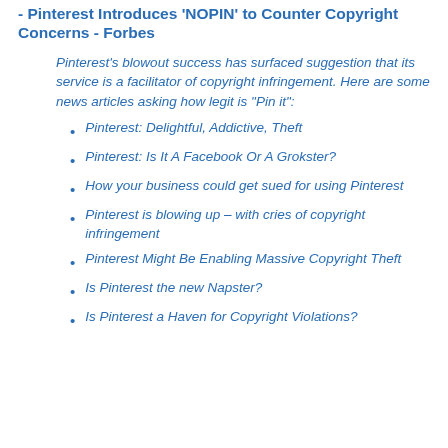- Pinterest Introduces 'NOPIN' to Counter Copyright Concerns - Forbes
Pinterest's blowout success has surfaced suggestion that its service is a facilitator of copyright infringement. Here are some news articles asking how legit is "Pin it":
Pinterest: Delightful, Addictive, Theft
Pinterest: Is It A Facebook Or A Grokster?
How your business could get sued for using Pinterest
Pinterest is blowing up – with cries of copyright infringement
Pinterest Might Be Enabling Massive Copyright Theft
Is Pinterest the new Napster?
Is Pinterest a Haven for Copyright Violations?